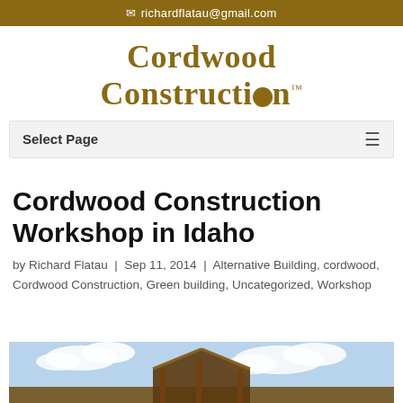richardflatau@gmail.com
Cordwood Construction™
Select Page
Cordwood Construction Workshop in Idaho
by Richard Flatau | Sep 11, 2014 | Alternative Building, cordwood, Cordwood Construction, Green building, Uncategorized, Workshop
[Figure (photo): Exterior photo of a cordwood construction building frame against a blue sky with clouds]